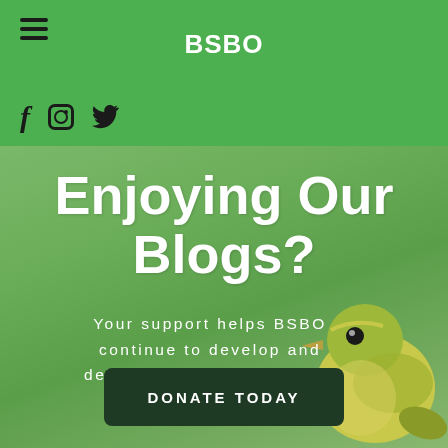BSBO
[Figure (screenshot): Navigation bar with hamburger menu icon on left and BSBO title centered, on green background]
[Figure (logo): Social media icons row: Facebook (f), Instagram (camera), Twitter (bird) on green background]
Enjoying Our Blogs?
Your support helps BSBO continue to develop and deliver educational content throughout the year
[Figure (photo): Small yellow-green bird (warbler) perched, on green blurred background, positioned in bottom-right corner]
DONATE TODAY